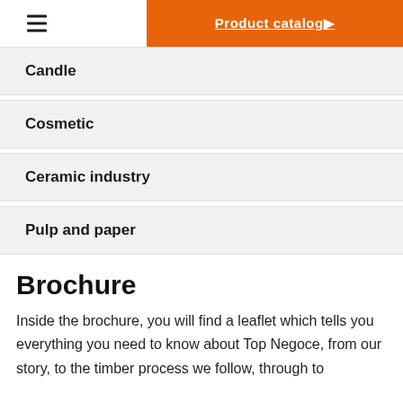Product catalog ▶
Candle
Cosmetic
Ceramic industry
Pulp and paper
Brochure
Inside the brochure, you will find a leaflet which tells you everything you need to know about Top Negoce, from our story, to the timber process we follow, through to